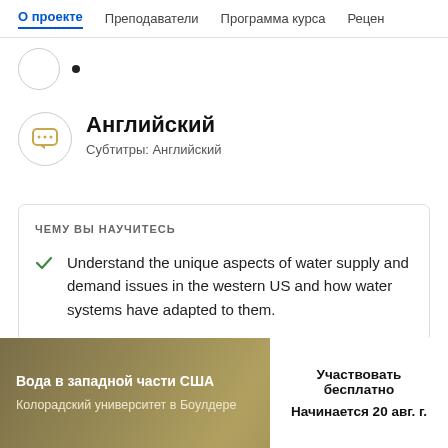О проекте  Преподаватели  Программа курса  Рецен
[Figure (illustration): Partial icon circle with a dot, top section cropped]
Английский
Субтитры: Английский
ЧЕМУ ВЫ НАУЧИТЕСЬ
Understand the unique aspects of water supply and demand issues in the western US and how water systems have adapted to them.
Вода в западной части США
Колорадский университет в Боулдере
Участвовать бесплатно
Начинается 20 авг. г.